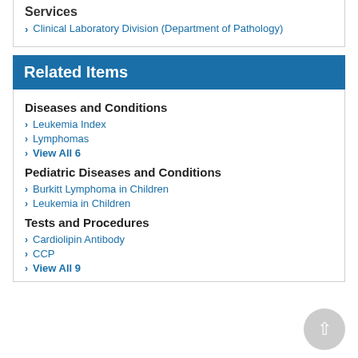Services
Clinical Laboratory Division (Department of Pathology)
Related Items
Diseases and Conditions
Leukemia Index
Lymphomas
View All 6
Pediatric Diseases and Conditions
Burkitt Lymphoma in Children
Leukemia in Children
Tests and Procedures
Cardiolipin Antibody
CCP
View All 9